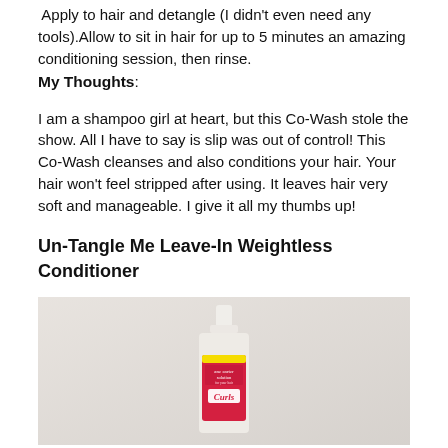Apply to hair and detangle (I didn't even need any tools).Allow to sit in hair for up to 5 minutes an amazing conditioning session, then rinse.
My Thoughts:
I am a shampoo girl at heart, but this Co-Wash stole the show. All I have to say is slip was out of control! This Co-Wash cleanses and also conditions your hair. Your hair won't feel stripped after using. It leaves hair very soft and manageable. I give it all my thumbs up!
Un-Tangle Me Leave-In Weightless Conditioner
[Figure (photo): Photo of an ane carter solution Curls product bottle with a white body, yellow stripe cap area, and pink/red label]